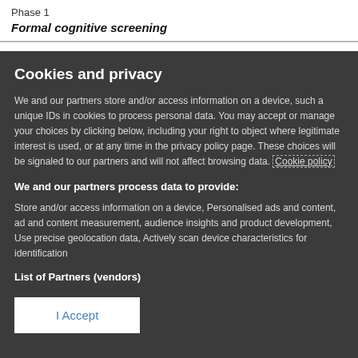Phase 1
Formal cognitive screening
Cookies and privacy
We and our partners store and/or access information on a device, such a unique IDs in cookies to process personal data. You may accept or manage your choices by clicking below, including your right to object where legitimate interest is used, or at any time in the privacy policy page. These choices will be signaled to our partners and will not affect browsing data. Cookie policy
We and our partners process data to provide:
Store and/or access information on a device, Personalised ads and content, ad and content measurement, audience insights and product development, Use precise geolocation data, Actively scan device characteristics for identification
List of Partners (vendors)
I Accept